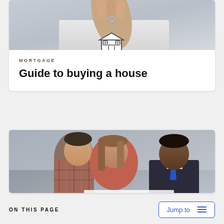[Figure (photo): Close-up of a hand holding keys with a house-shaped keychain pendant]
MORTGAGE
Guide to buying a house
[Figure (photo): Two people (a man in plaid shirt and a woman in salmon sweater) looking at documents with a suited man in blue tie, likely a real estate agent or mortgage advisor]
ON THIS PAGE
Jump to